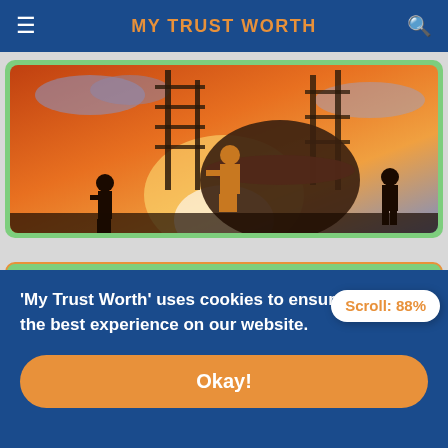MY TRUST WORTH
[Figure (photo): Construction site photo showing workers in silhouette against a dramatic orange sunset sky with scaffolding and industrial equipment]
Types of Defects in Bricks and their Identification
[Figure (photo): Partial image of bricks with blue/purple tones]
Scroll: 88%
'My Trust Worth' uses cookies to ensure you get the best experience on our website.
Okay!